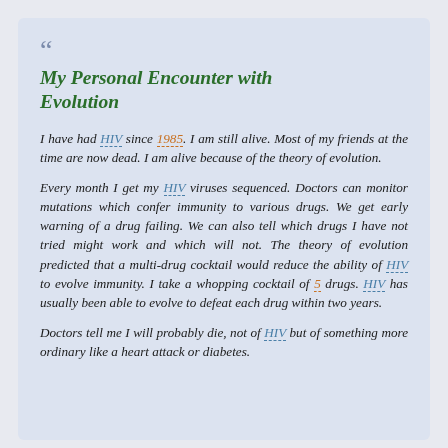My Personal Encounter with Evolution
I have had HIV since 1985. I am still alive. Most of my friends at the time are now dead. I am alive because of the theory of evolution.
Every month I get my HIV viruses sequenced. Doctors can monitor mutations which confer immunity to various drugs. We get early warning of a drug failing. We can also tell which drugs I have not tried might work and which will not. The theory of evolution predicted that a multi-drug cocktail would reduce the ability of HIV to evolve immunity. I take a whopping cocktail of 5 drugs. HIV has usually been able to evolve to defeat each drug within two years.
Doctors tell me I will probably die, not of HIV but of something more ordinary like a heart attack or diabetes.